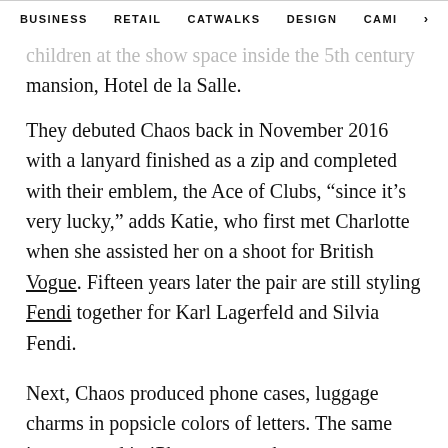BUSINESS   RETAIL   CATWALKS   DESIGN   CAMI  >
...children at the show space inside the 5th century mansion, Hotel de la Salle.
They debuted Chaos back in November 2016 with a lanyard finished as a zip and completed with their emblem, the Ace of Clubs, “since it’s very lucky,” adds Katie, who first met Charlotte when she assisted her on a shoot for British Vogue. Fifteen years later the pair are still styling Fendi together for Karl Lagerfeld and Silvia Fendi.
Next, Chaos produced phone cases, luggage charms in popsicle colors of letters. The same images used in iPhone covers, harness straps, wallets and key rings featuring white shells, eight balls, and dice. Mainly made